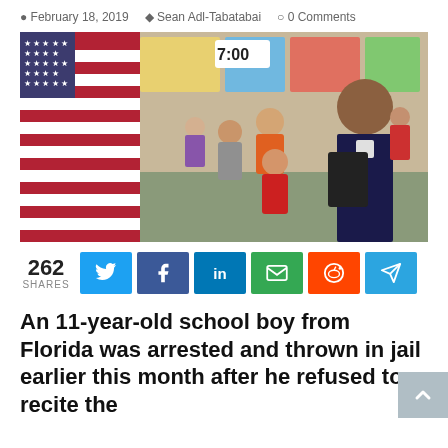February 18, 2019  Sean Adl-Tabatabai  0 Comments
[Figure (photo): A police officer reads from a clipboard in an elementary school classroom while children stand with hands over their hearts, an American flag visible on the left. A clock on the board shows 7:00.]
262 SHARES
An 11-year-old school boy from Florida was arrested and thrown in jail earlier this month after he refused to recite the